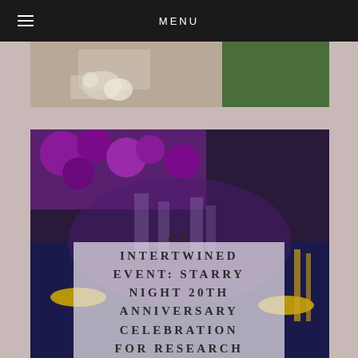MENU
[Figure (photo): Top photo showing event decor with flowers and green grass, partially visible]
[Figure (photo): Bottom photo showing purple roses, purple and gold table settings, glassware for an elegant event dinner]
AN INTERTWINED EVENT: STARRY NIGHT 20TH ANNIVERSARY CELEBRATION FOR RESEARCH